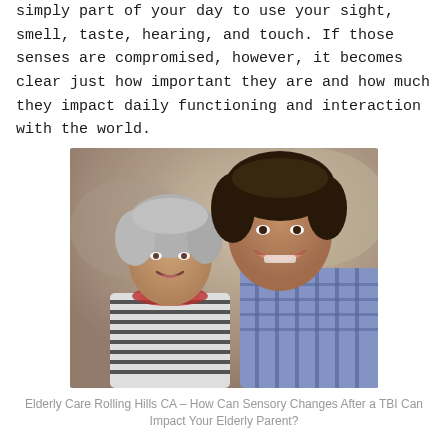simply part of your day to use your sight, smell, taste, hearing, and touch. If those senses are compromised, however, it becomes clear just how important they are and how much they impact daily functioning and interaction with the world.
[Figure (photo): An elderly woman with gray hair and a younger man both smiling, posed closely together. The woman wears a striped top and a colorful scarf. The man wears a blue plaid shirt.]
Elderly Care Rolling Hills CA – How Can Sensory Changes After a TBI Can Impact Your Elderly Parent?